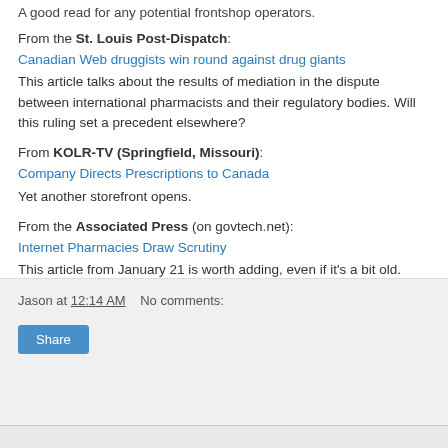A good read for any potential frontshop operators.
From the St. Louis Post-Dispatch: Canadian Web druggists win round against drug giants This article talks about the results of mediation in the dispute between international pharmacists and their regulatory bodies. Will this ruling set a precedent elsewhere?
From KOLR-TV (Springfield, Missouri): Company Directs Prescriptions to Canada Yet another storefront opens.
From the Associated Press (on govtech.net): Internet Pharmacies Draw Scrutiny This article from January 21 is worth adding, even if it's a bit old.
Jason at 12:14 AM   No comments:   Share